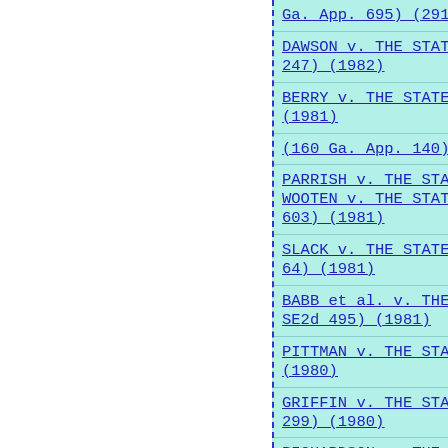Ga. App. 695) (291 SE2d 557) (1982)
DAWSON v. THE STATE. (161 Ga. App. 121) (288 SE2d 247) (1982)
BERRY v. THE STATE. (248 Ga. 430) (283 SE2d 607) (1981)
(160 Ga. App. 140) (286 SE2d 488) (1981)
PARRISH v. THE STATE.; THE STATE v. WOOTEN et al.; WOOTEN v. THE STATE. (160 Ga. App. 601) (287 SE2d 603) (1981)
SLACK v. THE STATE. (159 Ga. App. 185) (283 SE2d 64) (1981)
BABB et al. v. THE STATE. (157 Ga. App. 757) (278 SE2d 495) (1981)
PITTMAN v. THE STATE. (245 Ga. 453) (265 SE2d 592) (1980)
GRIFFIN v. THE STATE. (155 Ga. App. 77) (270 SE2d 299) (1980)
RICHARDSON v. THE STATE.